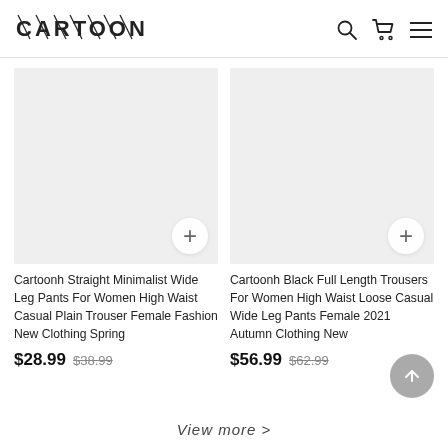CARTOONH
[Figure (photo): Product image placeholder for Cartoonh Straight Minimalist Wide Leg Pants (light gray background)]
Cartoonh Straight Minimalist Wide Leg Pants For Women High Waist Casual Plain Trouser Female Fashion New Clothing Spring
$28.99 $38.99
[Figure (photo): Product image placeholder for Cartoonh Black Full Length Trousers (light gray background)]
Cartoonh Black Full Length Trousers For Women High Waist Loose Casual Wide Leg Pants Female 2021 Autumn Clothing New
$56.99 $62.99
View more >